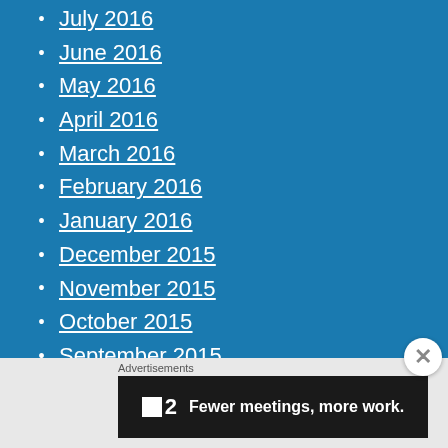July 2016
June 2016
May 2016
April 2016
March 2016
February 2016
January 2016
December 2015
November 2015
October 2015
September 2015
August 2015
July 2015
June 2015
Advertisements
[Figure (screenshot): Advertisement banner: F2 logo with text 'Fewer meetings, more work.']